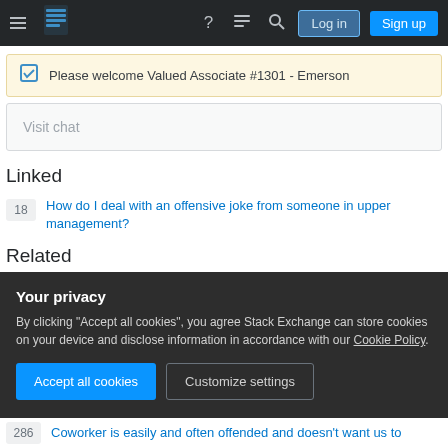[Figure (screenshot): Stack Exchange navigation bar with hamburger menu, logo, icons, Log in and Sign up buttons]
Please welcome Valued Associate #1301 - Emerson
Visit chat
Linked
18  How do I deal with an offensive joke from someone in upper management?
Related
Your privacy
By clicking "Accept all cookies", you agree Stack Exchange can store cookies on your device and disclose information in accordance with our Cookie Policy.
Accept all cookies
Customize settings
286  Coworker is easily and often offended and doesn't want us to